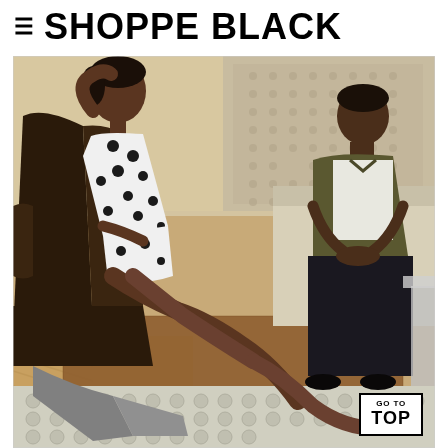≡ SHOPPE BLACK
[Figure (photo): Two people seated in a modern interior. On the left, a person in a white polka-dot dress sits in a dark leather lounge chair with legs crossed, wearing metallic sandals. On the right, a person in a dark olive shirt and black pants sits on a light-colored sofa with hands folded. A textured rug is on the floor.]
GO TO TOP